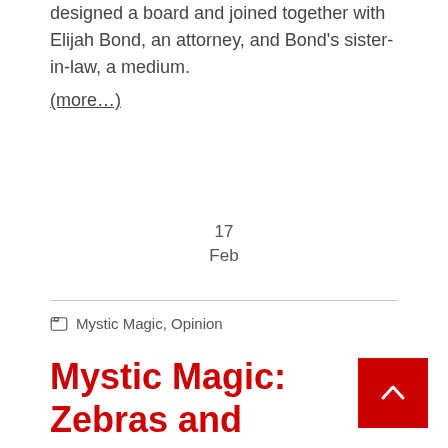designed a board and joined together with Elijah Bond, an attorney, and Bond's sister-in-law, a medium.
(more…)
17
Feb
Mystic Magic, Opinion
Mystic Magic: Zebras and Horses